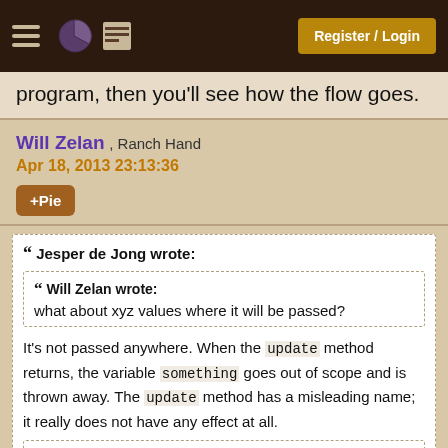Register / Login
program, then you'll see how the flow goes.
Will Zelan , Ranch Hand
Apr 18, 2013 23:13:36
+Pie
Jesper de Jong wrote:
  Will Zelan wrote:
  what about xyz values where it will be passed?
It's not passed anywhere. When the update method returns, the variable something goes out of scope and is thrown away. The update method has a misleading name; it really does not have any effect at all.
Will Zelan wrote: